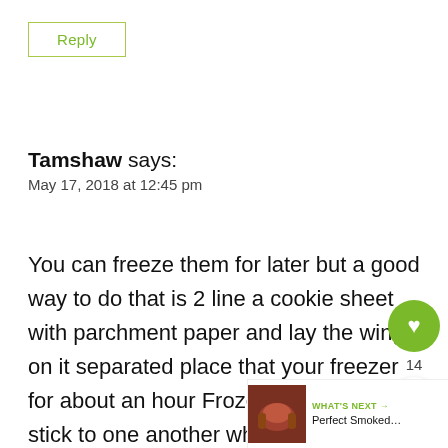Reply
Tamshaw says:
May 17, 2018 at 12:45 pm
You can freeze them for later but a good way to do that is 2 line a cookie sheet with parchment paper and lay the wings on it separated place that your freezer for about an hour Frozen enough not to stick to one another when you put them into a